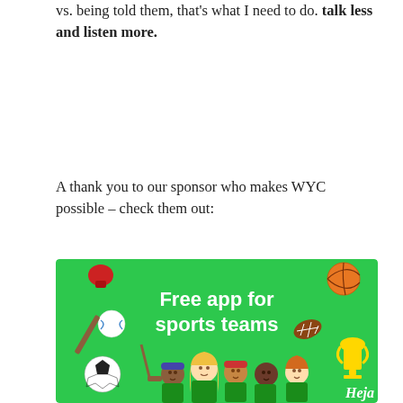vs. being told them, that's what I need to do. Talk less and listen more.
A thank you to our sponsor who makes WYC possible – check them out:
[Figure (illustration): Green advertisement banner for Heja app with text 'Free app for sports teams', showing cartoon team members in green jerseys and sports equipment icons including basketball, football, soccer ball, baseball bat, hockey stick, and trophy. Heja logo in bottom right.]